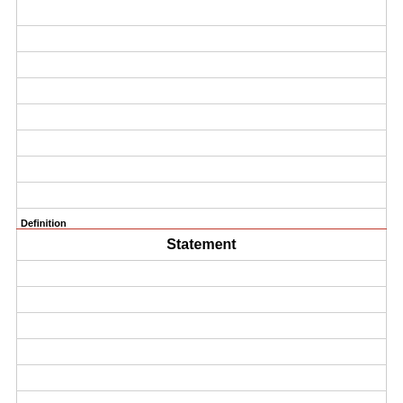|  |
|  |
|  |
|  |
|  |
|  |
|  |
|  |
| Definition |
| Statement |
|  |
|  |
|  |
|  |
|  |
|  |
|  |
|  |
|  |
|  |
| Term |
| Effect |